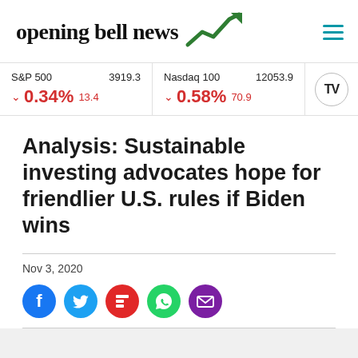opening bell news
S&P 500  3919.3  ▼ 0.34%  13.4  |  Nasdaq 100  12053.9  ▼ 0.58%  70.9
Analysis: Sustainable investing advocates hope for friendlier U.S. rules if Biden wins
Nov 3, 2020